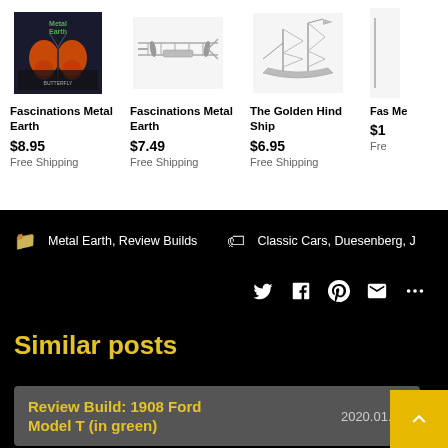[Figure (screenshot): Product listing row showing Metal Earth model kits with product images, names, prices, and shipping info]
Metal Earth, Review Builds
Classic Cars, Duesenberg, J
Social sharing icons: Twitter, Facebook, Pinterest, Email, More
Similar posts
Review Build: 1908 Ford Model T (in green)    2020.01.29